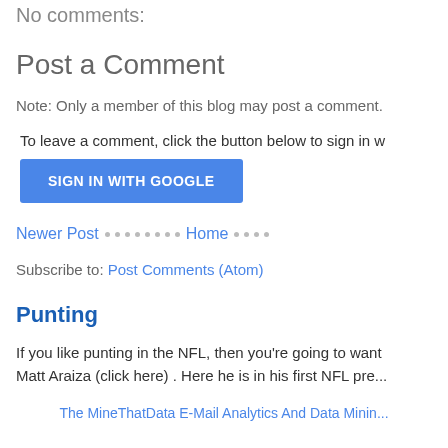No comments:
Post a Comment
Note: Only a member of this blog may post a comment.
To leave a comment, click the button below to sign in with Google.
[Figure (other): Blue 'SIGN IN WITH GOOGLE' button]
Newer Post · · · · · · · Home · · · ·
Subscribe to: Post Comments (Atom)
Punting
If you like punting in the NFL, then you're going to want to see Matt Araiza (click here) . Here he is in his first NFL pre...
The MineThatData E-Mail Analytics And Data Minin...